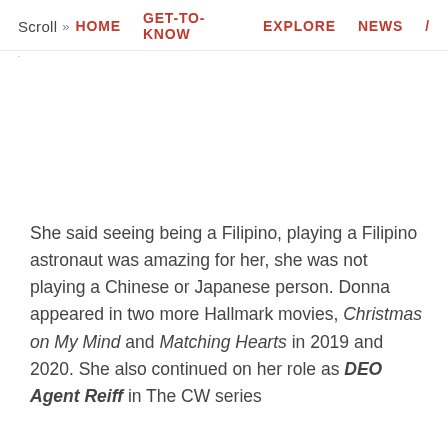Scroll >> HOME   GET-TO-KNOW   EXPLORE   NEWS
She said seeing being a Filipino, playing a Filipino astronaut was amazing for her, she was not playing a Chinese or Japanese person. Donna appeared in two more Hallmark movies, Christmas on My Mind and Matching Hearts in 2019 and 2020. She also continued on her role as DEO Agent Reiff in The CW series